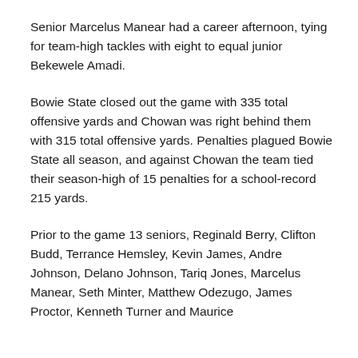Senior Marcelus Manear had a career afternoon, tying for team-high tackles with eight to equal junior Bekewele Amadi.
Bowie State closed out the game with 335 total offensive yards and Chowan was right behind them with 315 total offensive yards. Penalties plagued Bowie State all season, and against Chowan the team tied their season-high of 15 penalties for a school-record 215 yards.
Prior to the game 13 seniors, Reginald Berry, Clifton Budd, Terrance Hemsley, Kevin James, Andre Johnson, Delano Johnson, Tariq Jones, Marcelus Manear, Seth Minter, Matthew Odezugo, James Proctor, Kenneth Turner and Maurice